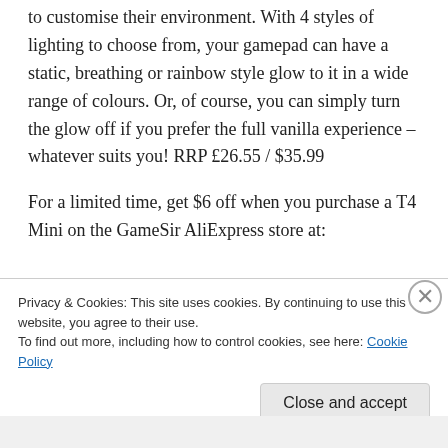to customise their environment. With 4 styles of lighting to choose from, your gamepad can have a static, breathing or rainbow style glow to it in a wide range of colours. Or, of course, you can simply turn the glow off if you prefer the full vanilla experience – whatever suits you! RRP £26.55 / $35.99
For a limited time, get $6 off when you purchase a T4 Mini on the GameSir AliExpress store at:
Privacy & Cookies: This site uses cookies. By continuing to use this website, you agree to their use.
To find out more, including how to control cookies, see here: Cookie Policy
Close and accept